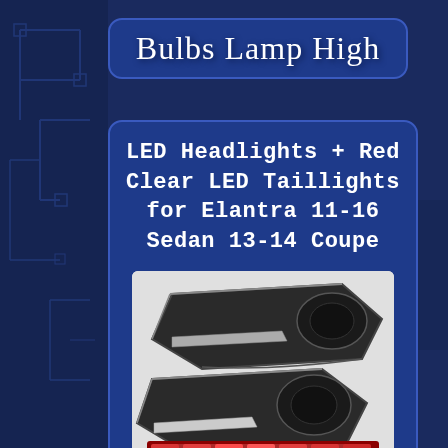Bulbs Lamp High
LED Headlights + Red Clear LED Taillights for Elantra 11-16 Sedan 13-14 Coupe
[Figure (photo): Two black LED headlights for Hyundai Elantra and red LED taillights visible at the bottom of the image, displayed against a white background.]